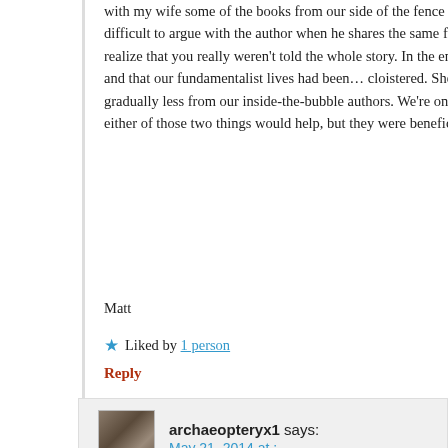with my wife some of the books from our side of the fence that first... difficult to argue with the author when he shares the same faith tha... realize that you really weren't told the whole story. In the end, she r... and that our fundamentalist lives had been... cloistered. She contin... gradually less from our inside-the-bubble authors. We're on the sa... either of those two things would help, but they were beneficial for u...
Matt
★ Liked by 1 person
Reply
archaeopteryx1 says:
May 21, 2014 at :
Matt's not telling you the whole story, East TN – he's leaving out th... lucky he was to have gotten one of the cool wives!
Anyone – well worth a read:
http://unpackthatthought.wordpress.com/2014/05/21/thanking-sa...
★ Liked by 3 people
Reply